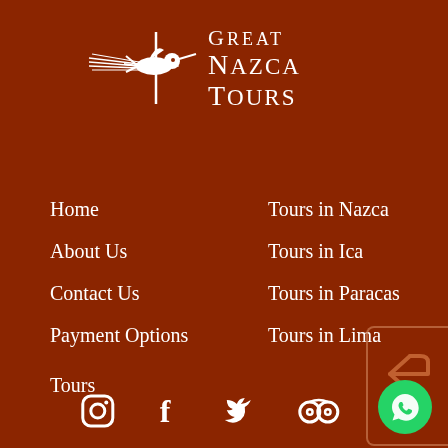[Figure (logo): Great Nazca Tours logo with hummingbird/nazca lines graphic and text 'Great Nazca Tours']
Home
About Us
Contact Us
Payment Options
Tours in Nazca
Tours in Ica
Tours in Paracas
Tours in Lima
Tours
[Figure (other): Return button with back arrow icon]
[Figure (other): Social media icons row: Instagram, Facebook, Twitter, TripAdvisor; WhatsApp chat button]